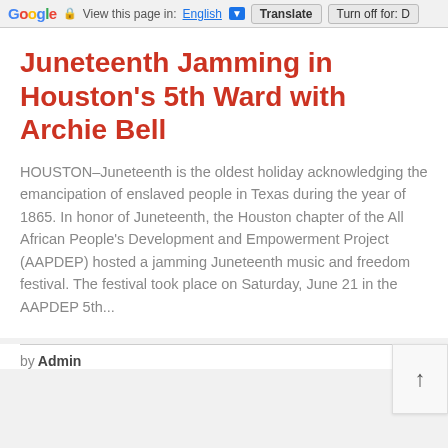Google | View this page in: English [▼] Translate | Turn off for: D
Juneteenth Jamming in Houston's 5th Ward with Archie Bell
HOUSTON–Juneteenth is the oldest holiday acknowledging the emancipation of enslaved people in Texas during the year of 1865. In honor of Juneteenth, the Houston chapter of the All African People's Development and Empowerment Project (AAPDEP) hosted a jamming Juneteenth music and freedom festival. The festival took place on Saturday, June 21 in the AAPDEP 5th...
by Admin   July